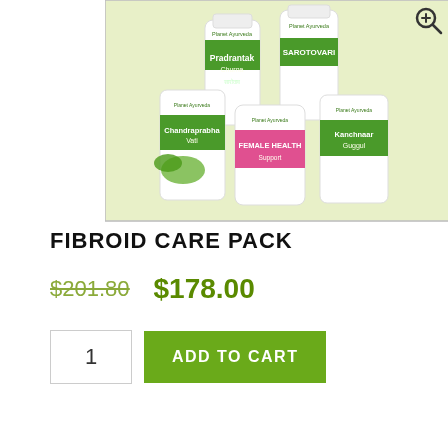[Figure (photo): Product image showing Fibroid Care Pack from Planet Ayurveda, including Pradrantak Churna, Sarotovari, Chandraprabha Vati, Female Health Support, and Kanchnaar Guggul bottles arranged together on a light green background.]
FIBROID CARE PACK
$201.80  $178.00
1  ADD TO CART